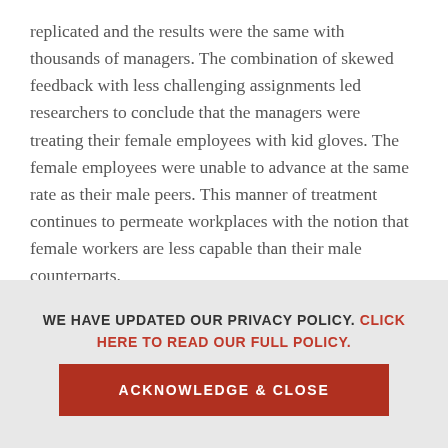replicated and the results were the same with thousands of managers. The combination of skewed feedback with less challenging assignments led researchers to conclude that the managers were treating their female employees with kid gloves. The female employees were unable to advance at the same rate as their male peers. This manner of treatment continues to permeate workplaces with the notion that female workers are less capable than their male counterparts.

If we continue to think of biases as the activity of only isolated, terrible, bad people, then the systems as a
WE HAVE UPDATED OUR PRIVACY POLICY. CLICK HERE TO READ OUR FULL POLICY.
ACKNOWLEDGE & CLOSE